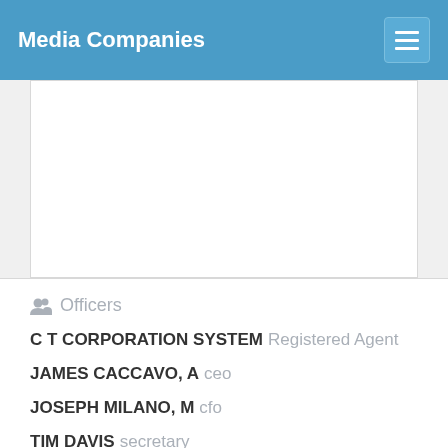Media Companies
[Figure (other): Advertisement or content placeholder block]
Officers
C T CORPORATION SYSTEM Registered Agent
JAMES CACCAVO, A ceo
JOSEPH MILANO, M cfo
TIM DAVIS secretary